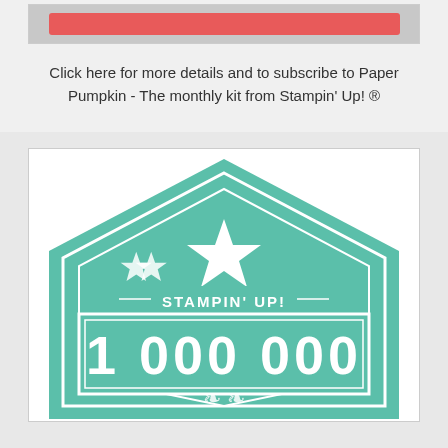[Figure (illustration): Red banner/button bar at top of page]
Click here for more details and to subscribe to Paper Pumpkin - The monthly kit from Stampin' Up! ®
[Figure (logo): Stampin' Up! 1 000 000 milestone badge/logo in teal green with stars, house shape and decorative elements]